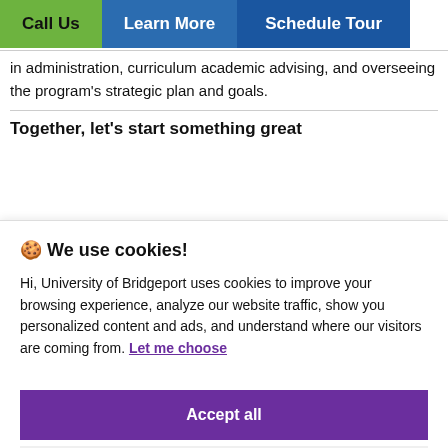Call Us | Learn More | Schedule Tour
in administration, curriculum academic advising, and overseeing the program's strategic plan and goals.
Together, let's start something great
🍪 We use cookies!

Hi, University of Bridgeport uses cookies to improve your browsing experience, analyze our website traffic, show you personalized content and ads, and understand where our visitors are coming from. Let me choose

[Accept all] [Reject all]